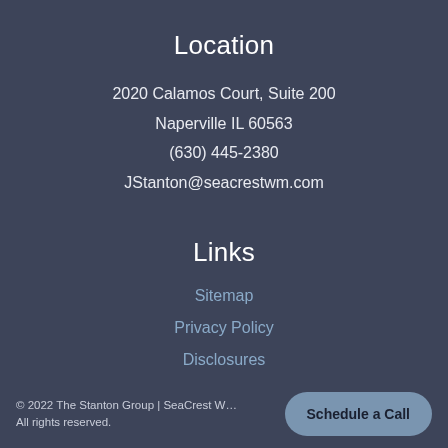Location
2020 Calamos Court, Suite 200
Naperville IL 60563
(630) 445-2380
JStanton@seacrestwm.com
Links
Sitemap
Privacy Policy
Disclosures
© 2022 The Stanton Group | SeaCrest W... All rights reserved.